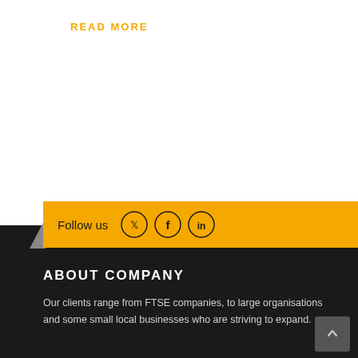READ MORE
[Figure (infographic): Follow us bar with social media icons (Twitter, Facebook, LinkedIn) on a yellow background with a dark shadow tab on the left]
ABOUT COMPANY
Our clients range from FTSE companies, to large organisations and some small local businesses who are striving to expand.